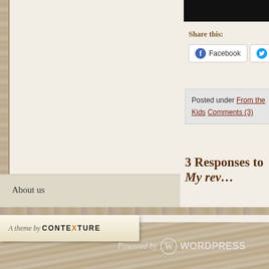[Figure (screenshot): Top portion of a WordPress blog page showing share buttons for Facebook and Twitter, a 'Posted under' section with links, and a '3 Responses to My rev...' heading. Below is a footer with 'About us' link, a Contexture theme banner, and a WordPress powered footer on wood-textured background.]
Share this:
Facebook
Twitter
Posted under From the Kids Comments (3)
3 Responses to My rev...
About us
A theme by CONTEXTURE
Powered by WordPress